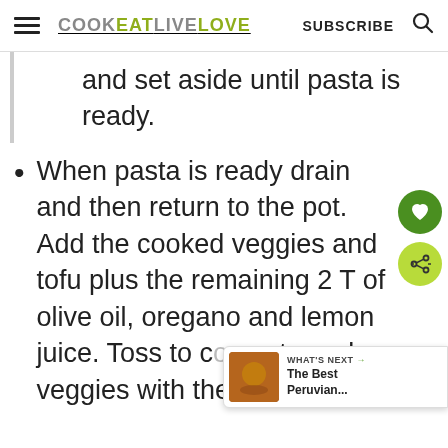COOKEATLIVELOVE  SUBSCRIBE
and set aside until pasta is ready.
When pasta is ready drain and then return to the pot. Add the cooked veggies and tofu plus the remaining 2 T of olive oil, oregano and lemon juice. Toss to co... pasta and veggies with the